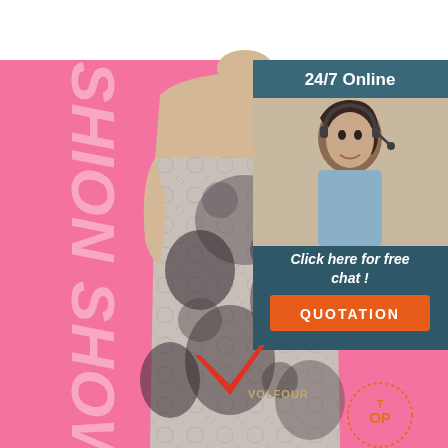[Figure (illustration): Fashion show advertisement with pink background, mannequin wearing lace floral dress, FASHION SHOW text rotated vertically on left, a customer service box top right with '24/7 Online', photo of woman with headset, 'Click here for free chat!' text, orange QUOTATION button, Volfour logo bottom center, TOP badge bottom right.]
24/7 Online
Click here for free chat !
QUOTATION
FASHION SHOW
VOLFOUR
TOP